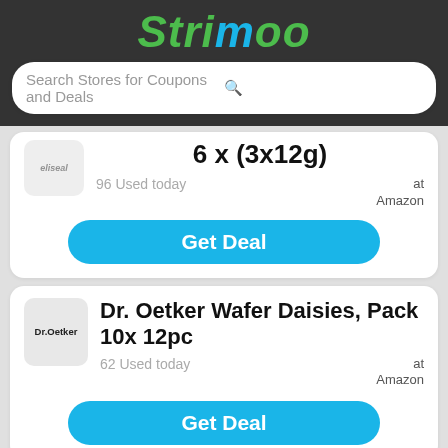Strimoo
Search Stores for Coupons and Deals
6 x (3x12g)
96 Used today
at Amazon
Get Deal
Dr. Oetker Wafer Daisies, Pack 10x 12pc
62 Used today
at Amazon
Get Deal
Dr. Oetker Cream of